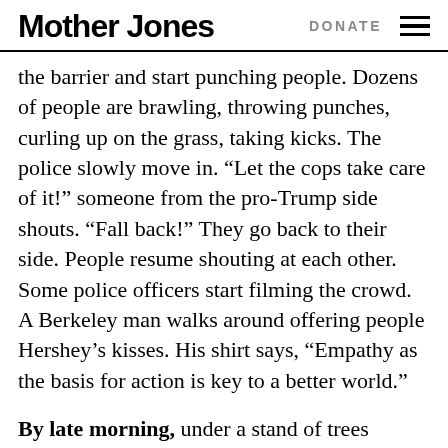Mother Jones   DONATE
the barrier and start punching people. Dozens of people are brawling, throwing punches, curling up on the grass, taking kicks. The police slowly move in. “Let the cops take care of it!” someone from the pro-Trump side shouts. “Fall back!” They go back to their side. People resume shouting at each other. Some police officers start filming the crowd. A Berkeley man walks around offering people Hershey’s kisses. His shirt says, “Empathy as the basis for action is key to a better world.”
By late morning, under a stand of trees several hundred feet back from the front line, people gather in front of a stage to hear the event’s speakers. Three Presenter militiamen dressed in camouflage